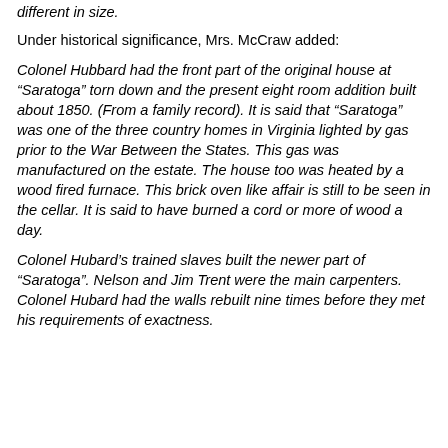different in size.
Under historical significance, Mrs. McCraw added:
Colonel Hubbard had the front part of the original house at “Saratoga” torn down and the present eight room addition built about 1850. (From a family record). It is said that “Saratoga” was one of the three country homes in Virginia lighted by gas prior to the War Between the States. This gas was manufactured on the estate. The house too was heated by a wood fired furnace. This brick oven like affair is still to be seen in the cellar. It is said to have burned a cord or more of wood a day.
Colonel Hubard’s trained slaves built the newer part of “Saratoga”. Nelson and Jim Trent were the main carpenters. Colonel Hubard had the walls rebuilt nine times before they met his requirements of exactness.